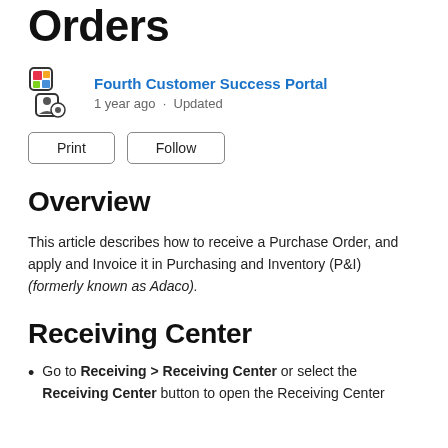Orders
Fourth Customer Success Portal
1 year ago · Updated
Print   Follow
Overview
This article describes how to receive a Purchase Order, and apply and Invoice it in Purchasing and Inventory (P&I) (formerly known as Adaco).
Receiving Center
Go to Receiving > Receiving Center or select the Receiving Center button to open the Receiving Center